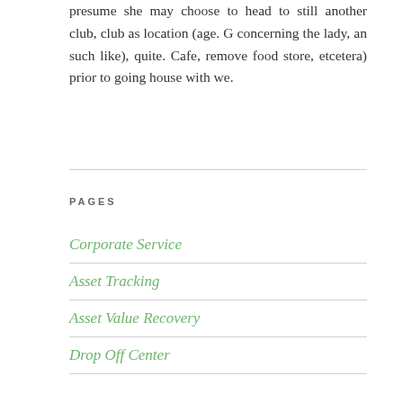presume she may choose to head to still another club, club as location (age. G concerning the lady, an such like), quite. Cafe, remove food store, etcetera) prior to going house with we.
PAGES
Corporate Service
Asset Tracking
Asset Value Recovery
Drop Off Center